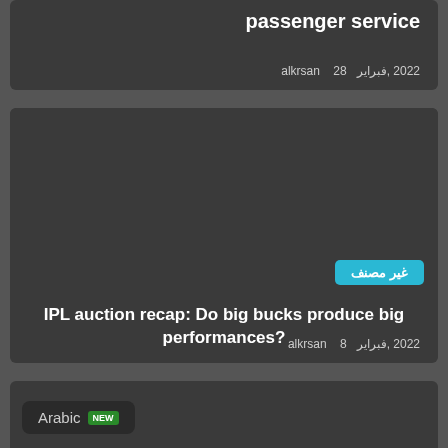passenger service
28  alkrsan  فبراير، 2022
[Figure (screenshot): Dark card with article about IPL auction recap with a cyan badge labeled غير مصنف]
IPL auction recap: Do big bucks produce big performances?
8  alkrsan  فبراير، 2022
[Figure (screenshot): Dark card with Arabic badge button reading Arabic with a green NEW label]
Arabic NEW